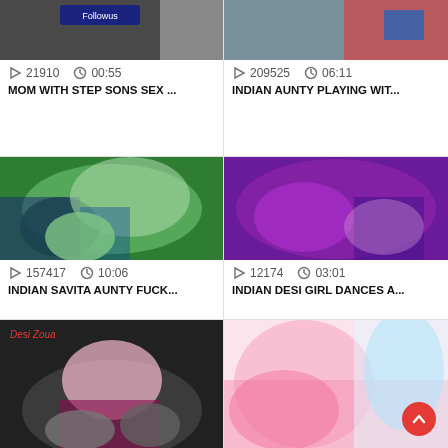[Figure (screenshot): Video thumbnail - partial top image row 1 left]
[Figure (screenshot): Video thumbnail - partial top image row 1 right]
21910   00:55
209525   06:11
MOM WITH STEP SONS SEX ...
INDIAN AUNTY PLAYING WIT...
[Figure (photo): Green fabric/clothing close-up photo]
[Figure (photo): Purple/violet lit room photo]
157417   10:06
12174   03:01
INDIAN SAVITA AUNTY FUCK...
INDIAN DESI GIRL DANCES A...
[Figure (photo): Desi Zoua watermark - woman photo]
[Figure (photo): Woman in floral dress photo]